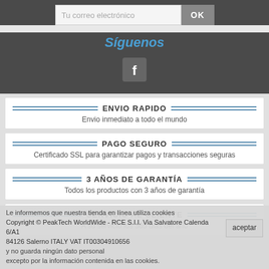Tu correo electrónico
Síguenos
[Figure (logo): Facebook icon - square button with white 'f' on grey background]
ENVIO RAPIDO
Envio inmediato a todo el mundo
PAGO SEGURO
Certificado SSL para garantizar pagos y transacciones seguras
3 AÑOS DE GARANTÍA
Todos los productos con 3 años de garantía
SERVICIO AL CLIENTE
A su servicio los 365 dias del año
Le informemos que nuestra tienda en línea utiliza cookies y no guarda ningún dato personal excepto por la información contenida en las cookies.
Copyright © PeakTech WorldWide - RCE S.I.I. Via Salvatore Calenda 6/A1 84126 Salerno ITALY VAT IT00304910656